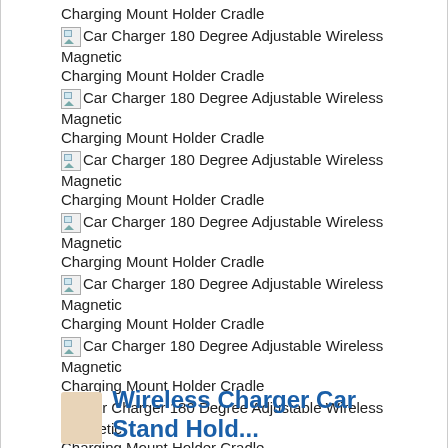Charging Mount Holder Cradle
[img] Car Charger 180 Degree Adjustable Wireless Magnetic Charging Mount Holder Cradle
[img] Car Charger 180 Degree Adjustable Wireless Magnetic Charging Mount Holder Cradle
[img] Car Charger 180 Degree Adjustable Wireless Magnetic Charging Mount Holder Cradle
[img] Car Charger 180 Degree Adjustable Wireless Magnetic Charging Mount Holder Cradle
[img] Car Charger 180 Degree Adjustable Wireless Magnetic Charging Mount Holder Cradle
[img] Car Charger 180 Degree Adjustable Wireless Magnetic Charging Mount Holder Cradle
[img] Car Charger 180 Degree Adjustable Wireless Magnetic Charging Mount Holder Cradle
[Figure (other): Partial product image visible at bottom of page with bold blue text 'Wireless Charger Car Stand Hold...']